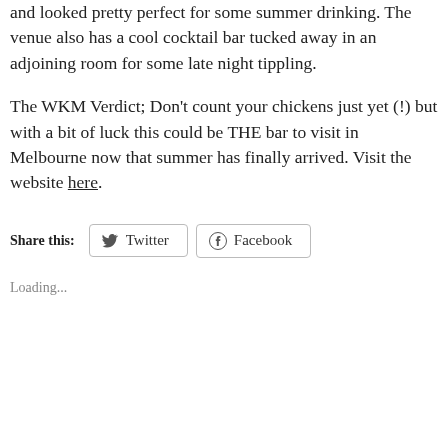and looked pretty perfect for some summer drinking. The venue also has a cool cocktail bar tucked away in an adjoining room for some late night tippling.
The WKM Verdict; Don't count your chickens just yet (!) but with a bit of luck this could be THE bar to visit in Melbourne now that summer has finally arrived. Visit the website here.
Share this:  Twitter  Facebook
Loading...